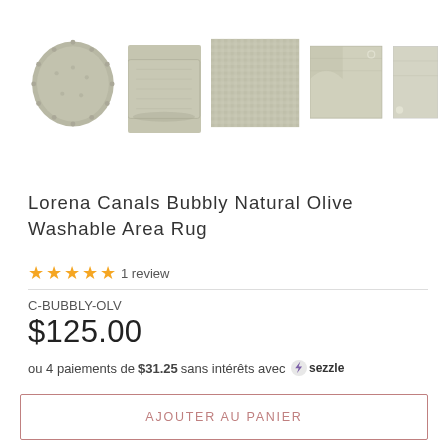[Figure (photo): Product gallery showing 5 thumbnail images of the Lorena Canals Bubbly Natural Olive Washable Area Rug from different angles: round view, folded view, close-up texture, corner detail with pom-pom, and another corner detail.]
Lorena Canals Bubbly Natural Olive Washable Area Rug
★★★★★ 1 review
C-BUBBLY-OLV
$125.00
ou 4 paiements de $31.25 sans intérêts avec Sezzle
AJOUTER AU PANIER